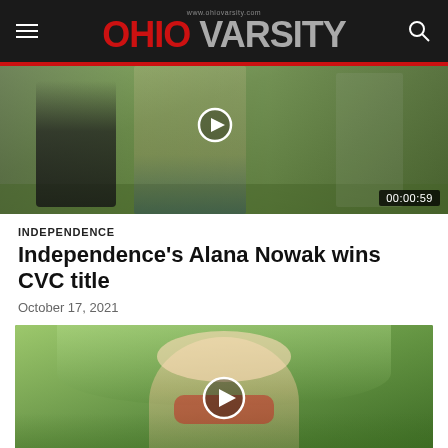OHIO VARSITY — www.ohiovarsity.com
[Figure (photo): Video thumbnail of a cross country runner at a meet, crowd in background, timestamp 00:00:59 shown in bottom right]
INDEPENDENCE
Independence's Alana Nowak wins CVC title
October 17, 2021
[Figure (photo): Video thumbnail of Alana Nowak standing on a grass field with trees in background, wearing a medal, play button overlay visible]